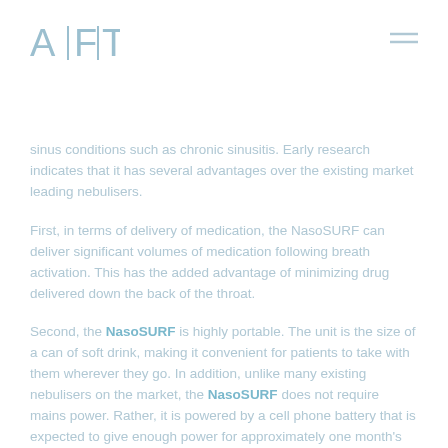AFT
sinus conditions such as chronic sinusitis. Early research indicates that it has several advantages over the existing market leading nebulisers.
First, in terms of delivery of medication, the NasoSURF can deliver significant volumes of medication following breath activation. This has the added advantage of minimizing drug delivered down the back of the throat.
Second, the NasoSURF is highly portable. The unit is the size of a can of soft drink, making it convenient for patients to take with them wherever they go. In addition, unlike many existing nebulisers on the market, the NasoSURF does not require mains power. Rather, it is powered by a cell phone battery that is expected to give enough power for approximately one month's portable use.